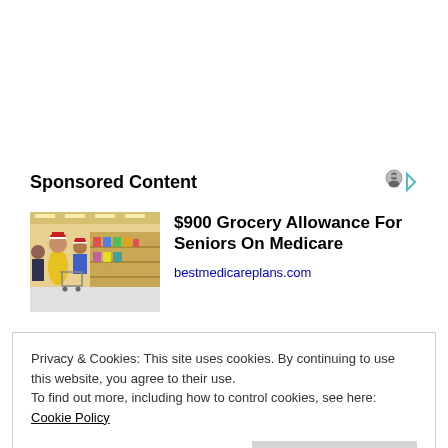Sponsored Content
[Figure (photo): Grocery store interior with shoppers in aisles, holiday setting with red and white colors]
$900 Grocery Allowance For Seniors On Medicare
bestmedicareplans.com
Privacy & Cookies: This site uses cookies. By continuing to use this website, you agree to their use.
To find out more, including how to control cookies, see here: Cookie Policy